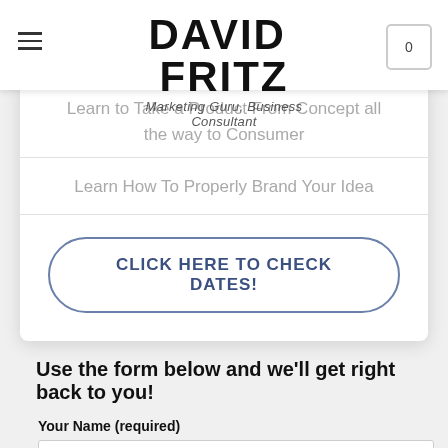DAVID FRITZ — Marketing Guru, Business Consultant
Price Varies
Learn to Take a Product From Concept all the way to Consumer
Learn How To Properly Brand Your Idea
CLICK HERE TO CHECK DATES!
Use the form below and we'll get right back to you!
Your Name (required)